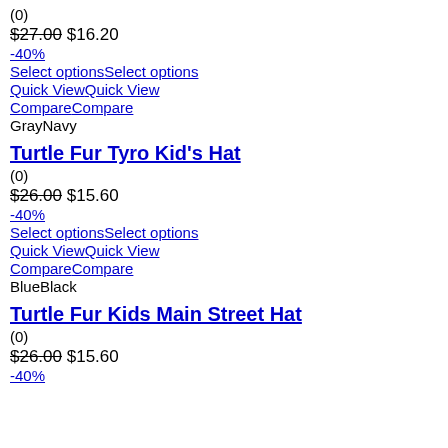(0)
$27.00 $16.20
-40%
Select optionsSelect options
Quick ViewQuick View
CompareCompare
GrayNavy
Turtle Fur Tyro Kid's Hat
(0)
$26.00 $15.60
-40%
Select optionsSelect options
Quick ViewQuick View
CompareCompare
BlueBlack
Turtle Fur Kids Main Street Hat
(0)
$26.00 $15.60
-40%